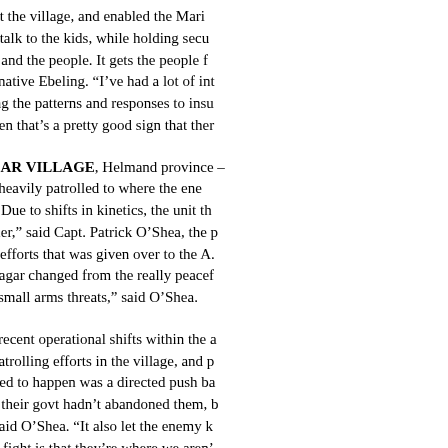throughout the village, and enabled the Marines willing to talk to the kids, while holding security the troops and the people. It gets the people fa said Mo., native Ebeling. “I’ve had a lot of int recognizing the patterns and responses to insu around, then that’s a pretty good sign that ther
SAREAGAR VILLAGE, Helmand province - off it was heavily patrolled to where the enem Sareagar. Due to shifts in kinetics, the unit th Transformer,” said Capt. Patrick O’Shea, the p patrolling efforts that was given over to the A. time, Sareagar changed from the really peacef IEDs and small arms threats,” said O’Shea.
The most recent operational shifts within the a increase patrolling efforts in the village, and p what needed to happen was a directed push ba know that their govt hadn’t abandoned them, b village,” said O’Shea. “It also let the enemy k enemy we fight is that they’re where we aren’
“There hasn’t been much ISAF presence there we haven’t forgotten about them,” said 81’s te counterinsurgency (COIN) fight, we’re the cle our whole goal was to set them up for success
The ANA had changed their patrolling tempo, Ramadan. This combined with a temporary de